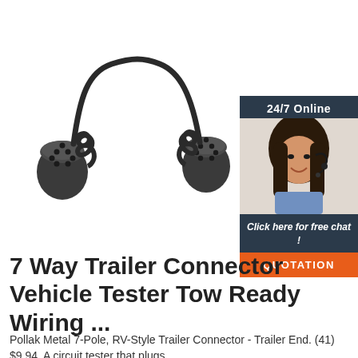[Figure (photo): Product photo of a 7-way trailer connector with coiled cable, showing two round black multi-pin connectors at each end of a black spiral/coiled cable.]
[Figure (photo): Chat widget showing a woman with a headset smiling, with '24/7 Online' header, 'Click here for free chat!' text, and an orange 'QUOTATION' button.]
7 Way Trailer Connector Vehicle Tester Tow Ready Wiring ...
Pollak Metal 7-Pole, RV-Style Trailer Connector - Trailer End. (41) $9.94. A circuit tester that plugs